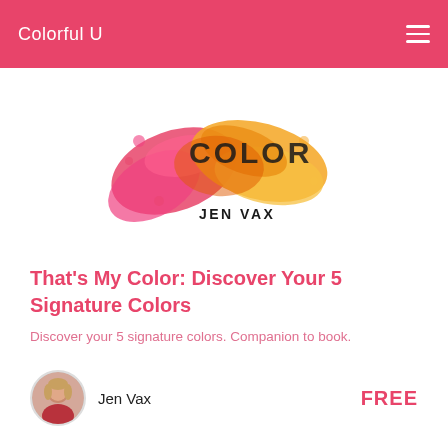Colorful U
[Figure (illustration): Colorful powder splash illustration with the word COLOR partially visible and JEN VAX text below it, serving as a book cover image]
That's My Color: Discover Your 5 Signature Colors
Discover your 5 signature colors. Companion to book.
Jen Vax
FREE